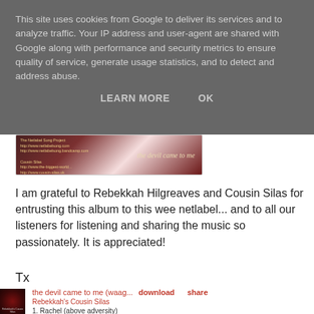This site uses cookies from Google to deliver its services and to analyze traffic. Your IP address and user-agent are shared with Google along with performance and security metrics to ensure quality of service, generate usage statistics, and to detect and address abuse.
LEARN MORE   OK
[Figure (screenshot): Small album art banner image showing 'the devil came to me' text on a dark red/green background with some text overlay on the left side]
I am grateful to Rebekkah Hilgreaves and Cousin Silas for entrusting this album to this wee netlabel... and to all our listeners for listening and sharing the music so passionately. It is appreciated!
Tx
[Figure (photo): Album thumbnail showing dark red radial background, labeled 'Rebekkah's Cousin Silas' at bottom]
the devil came to me (waag...   download   share
Rebekkah's Cousin Silas
1. Rachel (above adversity)